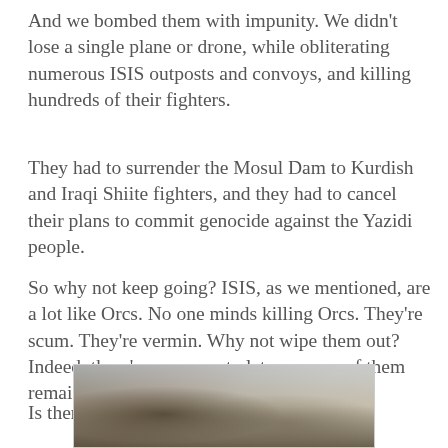And we bombed them with impunity.  We didn't lose a single plane or drone, while obliterating numerous ISIS outposts and convoys, and killing hundreds of their fighters.
They had to surrender the Mosul Dam to Kurdish and Iraqi Shiite fighters, and they had to cancel their plans to commit genocide against the Yazidi people.
So why not keep going?  ISIS, as we mentioned, are a lot like Orcs.  No one minds killing Orcs.  They're scum.  They're vermin.  Why not wipe them out?  Indeed, there's no reason to let even one of them remain alive.
Is there?
[Figure (photo): Partial photograph showing figures or warriors, cropped at bottom of page]